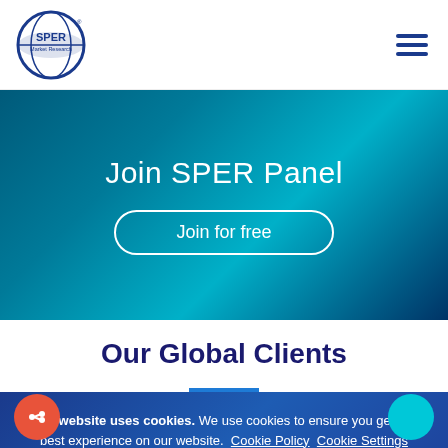[Figure (logo): SPER Market Research circular logo with globe and text]
[Figure (other): Hamburger menu icon (three horizontal lines)]
Join SPER Panel
Join for free
Our Global Clients
Our website uses cookies. We use cookies to ensure you get the best experience on our website.  Cookie Policy  Cookie Settings
ACCEPT